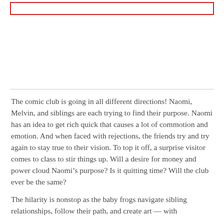[Figure (other): Empty red-bordered rectangle at top of page]
The comic club is going in all different directions! Naomi, Melvin, and siblings are each trying to find their purpose. Naomi has an idea to get rich quick that causes a lot of commotion and emotion. And when faced with rejections, the friends try and try again to stay true to their vision. To top it off, a surprise visitor comes to class to stir things up. Will a desire for money and power cloud Naomi’s purpose? Is it quitting time? Will the club ever be the same?
The hilarity is nonstop as the baby frogs navigate sibling relationships, follow their path, and create art –– with